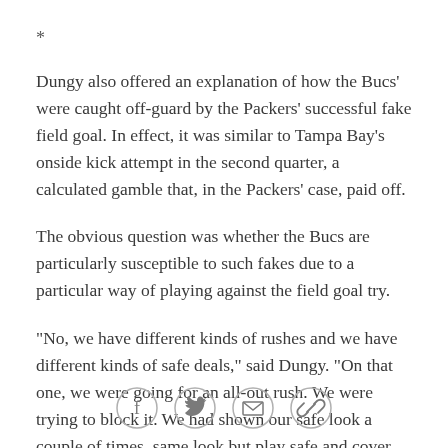*
Dungy also offered an explanation of how the Bucs' were caught off-guard by the Packers' successful fake field goal. In effect, it was similar to Tampa Bay's onside kick attempt in the second quarter, a calculated gamble that, in the Packers' case, paid off.
The obvious question was whether the Bucs are particularly susceptible to such fakes due to a particular way of playing against the field goal try.
"No, we have different kinds of rushes and we have different kinds of safe deals," said Dungy. "On that one, we were going for an all-out rush. We were trying to block it. We had shown our safe look a couple of times, same look but play safe and cover everyone, not
[Figure (other): Social share icons: Facebook, Twitter, Email, Link]